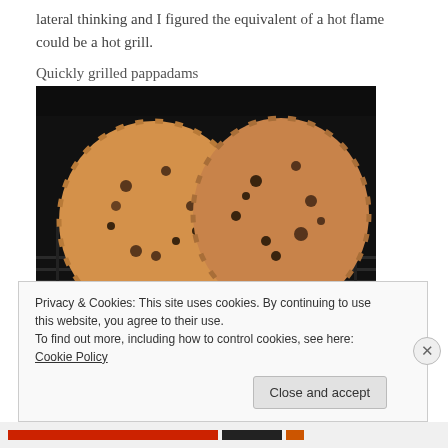lateral thinking and I figured the equivalent of a hot flame could be a hot grill.
Quickly grilled pappadams
[Figure (photo): Two golden-brown pappadams grilling on a wire rack inside a dark oven grill. The pappadams are round and slightly charred with black spots, sitting on a metal grill rack with a dark background.]
Privacy & Cookies: This site uses cookies. By continuing to use this website, you agree to their use.
To find out more, including how to control cookies, see here: Cookie Policy
Close and accept